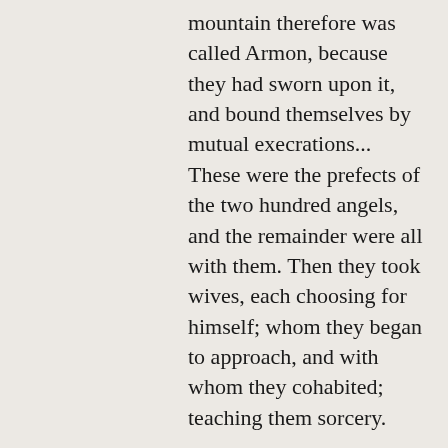mountain therefore was called Armon, because they had sworn upon it, and bound themselves by mutual execrations... These were the prefects of the two hundred angels, and the remainder were all with them. Then they took wives, each choosing for himself; whom they began to approach, and with whom they cohabited; teaching them sorcery.